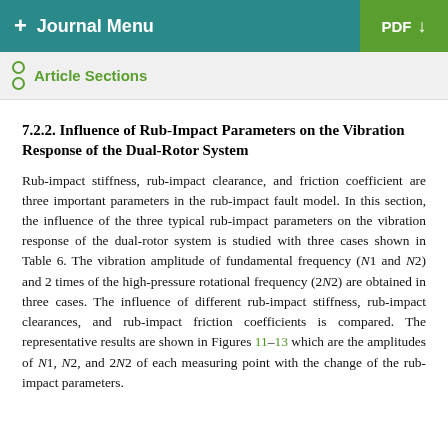+ Journal Menu   PDF ↓
Article Sections
7.2.2. Influence of Rub-Impact Parameters on the Vibration Response of the Dual-Rotor System
Rub-impact stiffness, rub-impact clearance, and friction coefficient are three important parameters in the rub-impact fault model. In this section, the influence of the three typical rub-impact parameters on the vibration response of the dual-rotor system is studied with three cases shown in Table 6. The vibration amplitude of fundamental frequency (N1 and N2) and 2 times of the high-pressure rotational frequency (2N2) are obtained in three cases. The influence of different rub-impact stiffness, rub-impact clearances, and rub-impact friction coefficients is compared. The representative results are shown in Figures 11–13 which are the amplitudes of N1, N2, and 2N2 of each measuring point with the change of the rub-impact parameters.